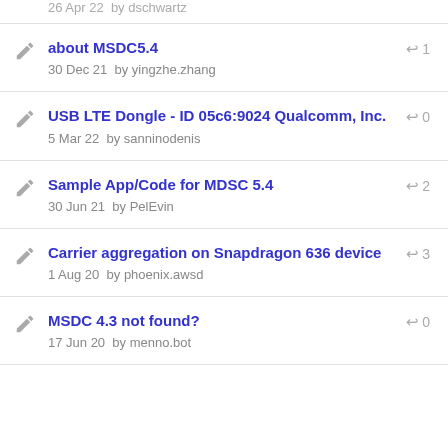26 Apr 22  by dschwartz
about MSDC5.4 — 30 Dec 21 by yingzhe.zhang — replies: 1
USB LTE Dongle - ID 05c6:9024 Qualcomm, Inc. — 5 Mar 22 by sanninodenis — replies: 0
Sample App/Code for MDSC 5.4 — 30 Jun 21 by PelEvin — replies: 2
Carrier aggregation on Snapdragon 636 device — 1 Aug 20 by phoenix.awsd — replies: 3
MSDC 4.3 not found? — 17 Jun 20 by menno.bot — replies: 0